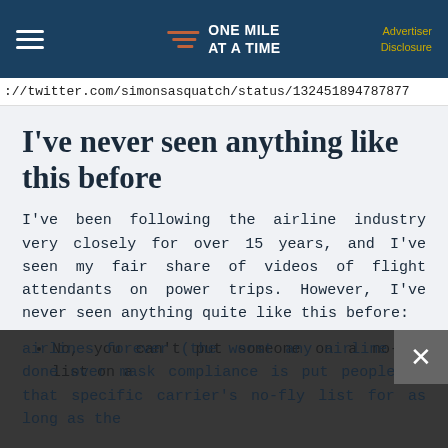ONE MILE AT A TIME — Advertiser Disclosure
://twitter.com/simonsasquatch/status/132451894787877...
I've never seen anything like this before
I've been following the airline industry very closely for over 15 years, and I've seen my fair share of videos of flight attendants on power trips. However, I've never seen anything quite like this before:
No, you can't put someone on a no-fly list on all airlines forever (the worst any airline has done over mask compliance is put people on that specific carrier's no-fly list for as long as the